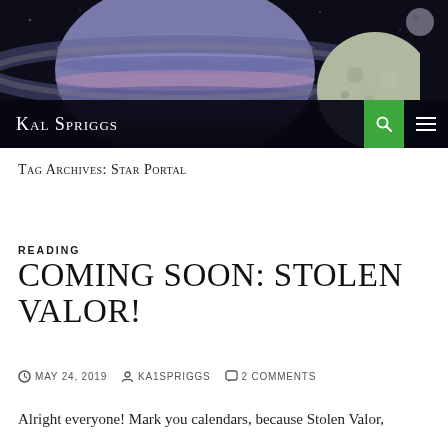[Figure (illustration): Space scene header image with a large ringed planet (Saturn-like, with purple/blue bands and pink stripe) on the left, and a large moon/planet on the right against a dark space background.]
Kal Spriggs
Tag Archives: Star Portal
READING
COMING SOON: STOLEN VALOR!
MAY 24, 2019  KA1SPRIGGS  2 COMMENTS
Alright everyone!  Mark you calendars, because Stolen Valor,